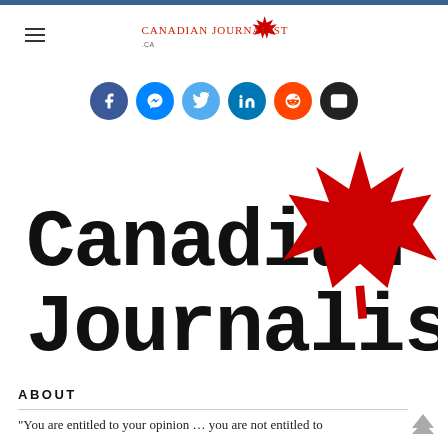[Figure (logo): Canadian Journalist logo with maple leaf and text in header]
[Figure (infographic): Row of social media sharing buttons: Facebook, Messenger, Twitter, LinkedIn, Reddit, Email]
[Figure (logo): Large Canadian Journalist .ca logo with red maple leaf overlapping the text]
ABOUT
“You are entitled to your opinion … you are not entitled to